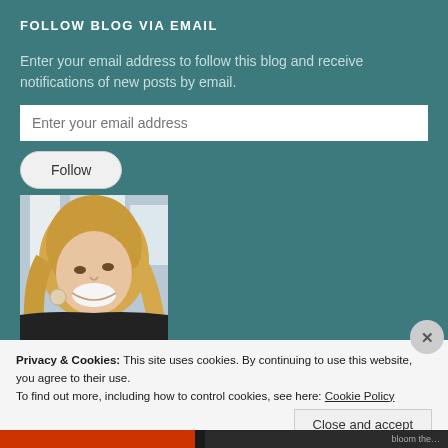FOLLOW BLOG VIA EMAIL
Enter your email address to follow this blog and receive notifications of new posts by email.
[Figure (photo): Profile photo of a smiling blonde woman looking upward, taken in what appears to be an indoor public space]
Privacy & Cookies: This site uses cookies. By continuing to use this website, you agree to their use.
To find out more, including how to control cookies, see here: Cookie Policy